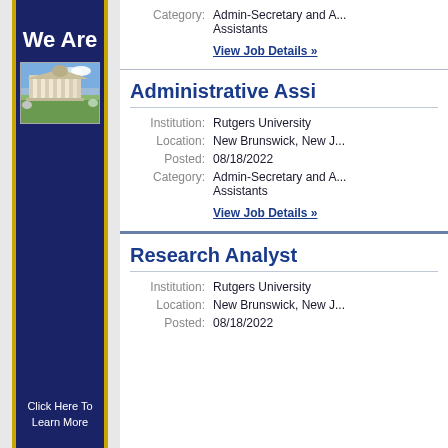[Figure (illustration): University building photo with columns and blue sky, green lawn in foreground]
We Are
Click Here To Learn More
Category: Admin-Secretary and Assistants
View Job Details »
Administrative Assi...
Institution: Rutgers University
Location: New Brunswick, New J...
Posted: 08/18/2022
Category: Admin-Secretary and Assistants
View Job Details »
Research Analyst
Institution: Rutgers University
Location: New Brunswick, New J...
Posted: 08/18/2022